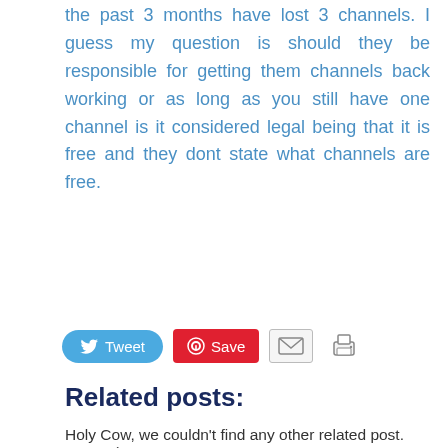the past 3 months have lost 3 channels. I guess my question is should they be responsible for getting them channels back working or as long as you still have one channel is it considered legal being that it is free and they dont state what channels are free.
[Figure (infographic): Social sharing buttons: Tweet (blue rounded), Save (red Pinterest), email icon, print icon]
Related posts:
Holy Cow, we couldn't find any other related post. Sorry. :(
Edited on: Thursday, September 8th, 2011 9:17 pm
[Figure (infographic): Rental Protection Agency advertisement box showing 3 steps: File Apartment Complaint, Check Status, Landlord Public Record. Get Started arrow pointing to red File Complaint button.]